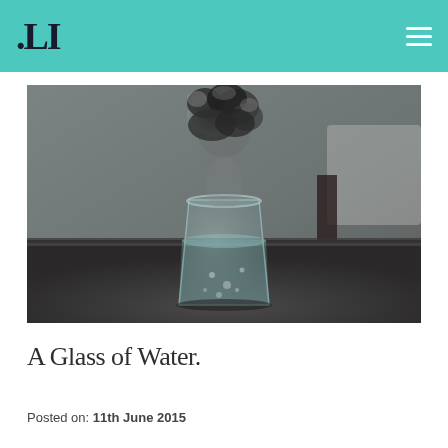.LI
[Figure (photo): A moody, desaturated photograph of a glass of water on a dark table surface, with a dark cloud-like smoke formation rising dramatically from the glass against a blurred background.]
A Glass of Water.
Posted on: 11th June 2015